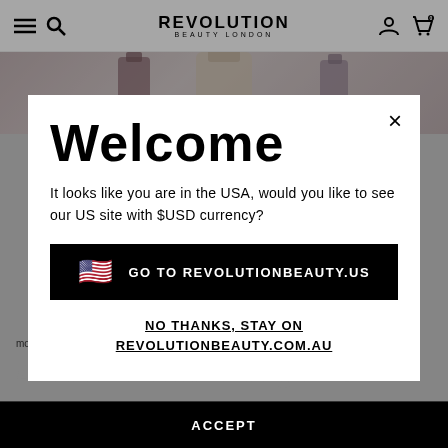REVOLUTION BEAUTY LONDON
[Figure (screenshot): Product bottles/containers shown in a strip above the modal]
Welcome
It looks like you are in the USA, would you like to see our US site with $USD currency?
GO TO REVOLUTIONBEAUTY.US
NO THANKS, STAY ON REVOLUTIONBEAUTY.COM.AU
more information see our cookie policy.
Define Infinite LongWear Shades)
ACCEPT